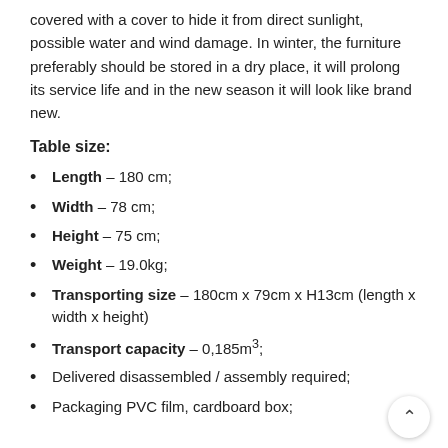covered with a cover to hide it from direct sunlight, possible water and wind damage. In winter, the furniture preferably should be stored in a dry place, it will prolong its service life and in the new season it will look like brand new.
Table size:
Length – 180 cm;
Width – 78 cm;
Height – 75 cm;
Weight – 19.0kg;
Transporting size – 180cm x 79cm x H13cm (length x width x height)
Transport capacity – 0,185m³;
Delivered disassembled / assembly required;
Packaging PVC film, cardboard box;